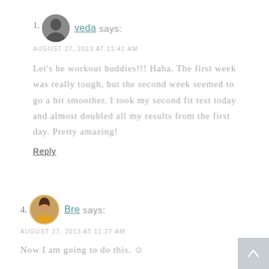1. veda says: AUGUST 27, 2013 AT 11:41 AM — Let's be workout buddies!!! Haha. The first week was really tough, but the second week seemed to go a bit smoother. I took my second fit test today and almost doubled all my results from the first day. Pretty amazing!
4. Bre says: AUGUST 27, 2013 AT 11:27 AM — Now I am going to do this.